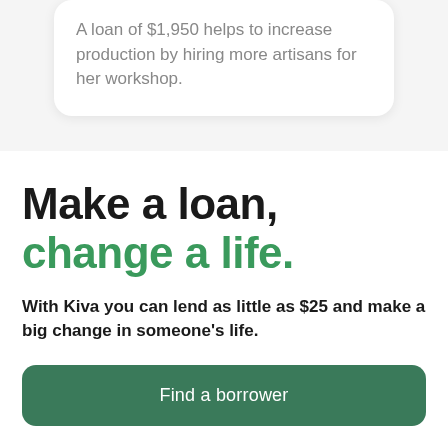A loan of $1,950 helps to increase production by hiring more artisans for her workshop.
Make a loan, change a life.
With Kiva you can lend as little as $25 and make a big change in someone's life.
Find a borrower